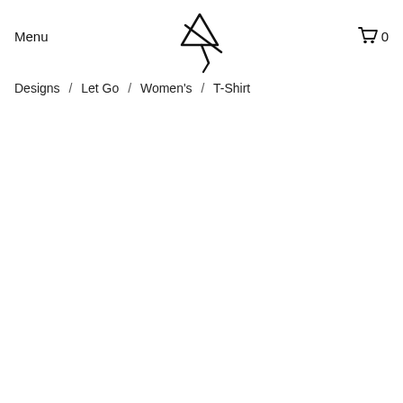Menu
[Figure (logo): Handwritten-style logo resembling the letters 'by' in black ink strokes]
[Figure (other): Shopping cart icon with the number 0 next to it]
Designs  /  Let Go  /  Women's  /  T-Shirt